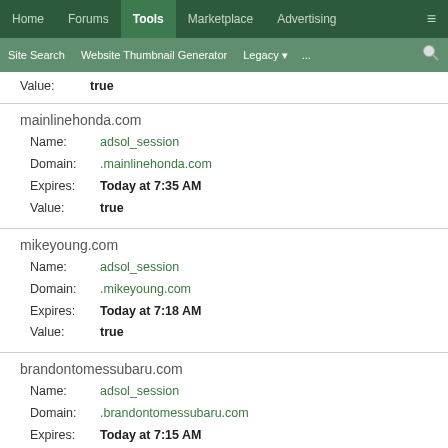Home | Forums | Tools | Marketplace | Advertising | ≡
Site Search | Website Thumbnail Generator | Legacy | ... | 🔍
Value: true
mainlinehonda.com
Name: adsol_session
Domain: .mainlinehonda.com
Expires: Today at 7:35 AM
Value: true
mikeyoung.com
Name: adsol_session
Domain: .mikeyoung.com
Expires: Today at 7:18 AM
Value: true
brandontomessubaru.com
Name: adsol_session
Domain: .brandontomessubaru.com
Expires: Today at 7:15 AM
Value: true
frontiertoyota.com
Name: adsol_session